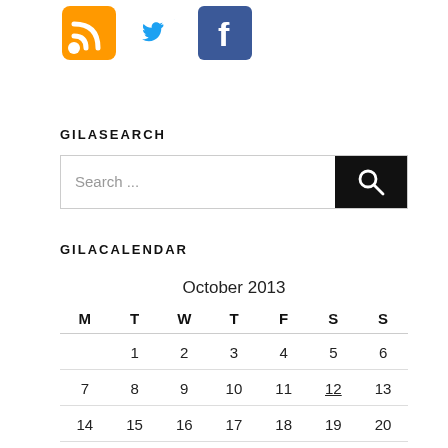[Figure (illustration): Social media icons: RSS feed (orange), Twitter bird (blue), Facebook (blue square with f)]
GILASEARCH
[Figure (screenshot): Search input box with placeholder text 'Search ...' and a black search button with magnifying glass icon]
GILACALENDAR
| M | T | W | T | F | S | S |
| --- | --- | --- | --- | --- | --- | --- |
|  | 1 | 2 | 3 | 4 | 5 | 6 |
| 7 | 8 | 9 | 10 | 11 | 12 | 13 |
| 14 | 15 | 16 | 17 | 18 | 19 | 20 |